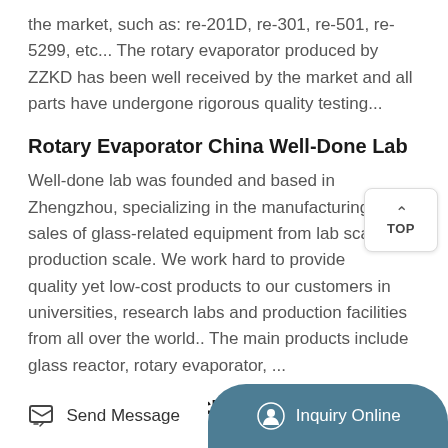the market, such as: re-201D, re-301, re-501, re-5299, etc... The rotary evaporator produced by ZZKD has been well received by the market and all parts have undergone rigorous quality testing...
Rotary Evaporator China Well-Done Lab
Well-done lab was founded and based in Zhengzhou, specializing in the manufacturing and sales of glass-related equipment from lab scale to production scale. We work hard to provide quality yet low-cost products to our customers in universities, research labs and production facilities from all over the world.. The main products include glass reactor, rotary evaporator, ...
What Is Biometer China Large Capacity Explosion-Proof
Send Message   Inquiry Online